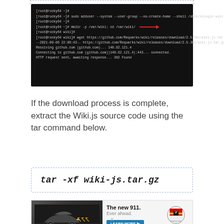[Figure (screenshot): Terminal screenshot showing Linux commands: sudo adduser with --system --user-group --no-create-home --shell /sbin/nologin wiki, mkdir -p /var/wiki and cd /var/wiki, wget https://github.com/Requarks/wiki/releases/download/2.5.301/wiki-js.tar.gz with download progress output. Red arrows highlight key command lines.]
If the download process is complete, extract the Wiki.js source code using the tar command below.
[Figure (photo): Porsche advertisement showing a dark sports car (new 911) driving on a road with yellow chevron signs. Text reads 'The new 911. Ever ahead. LEARN MORE'. Porsche logo on right.]